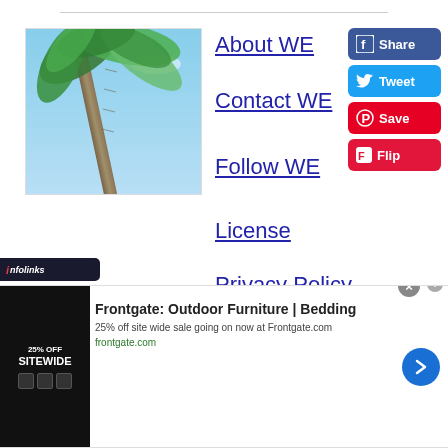[Figure (photo): Palm tree with green leaves against a blue sky, trunk diagonal]
About WE
Contact WE
Follow WE
License
Privacy Policy
Disclosure Policy
[Figure (screenshot): Facebook Share button (blue)]
[Figure (screenshot): Twitter Tweet button (blue)]
[Figure (screenshot): Pinterest Save button (red)]
[Figure (screenshot): Flip Flip button (red)]
[Figure (screenshot): Infolinks logo bar]
[Figure (screenshot): Frontgate advertisement: Outdoor Furniture | Bedding, 25% off sitewide]